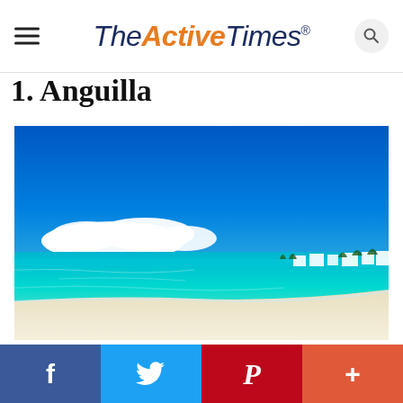TheActiveTimes
1. Anguilla
[Figure (photo): Tropical beach scene in Anguilla with vivid turquoise and blue ocean water, white sandy beach, small white buildings and palm trees in the background, and a bright blue sky with white clouds.]
Facebook | Twitter | Pinterest | More